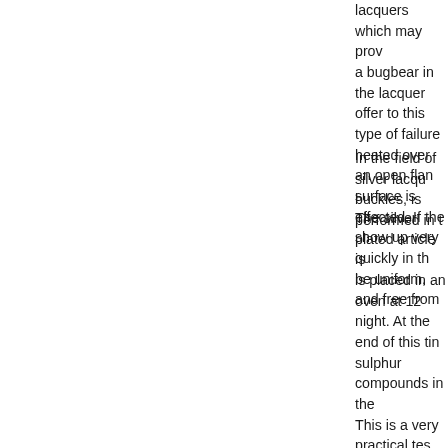lacquers which may prove a bugbear in the lacquer offer to this type of failure heated over an open flame surface is effected. If the show up very quickly in t be uniform, and free from
In the field of silver lacqu buckles, is performed in t
The silver plated article is is placed in an oven at 12 night. At the end of this ti sulphur compounds in the This is a very practical tes human skin or in packing this test the extent to whic also with silver in the flat here (exhibiting specime with one type of silver lac lacquer. A piece of rubbe lacquers, so that it partiall